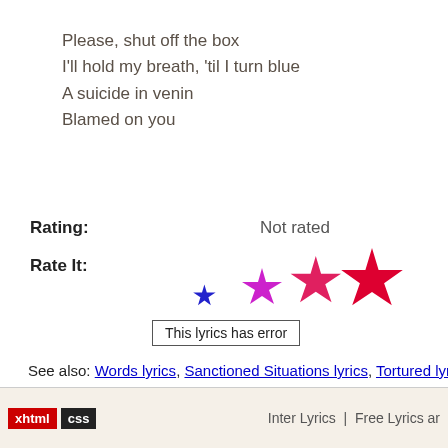Please, shut off the box
I'll hold my breath, 'til I turn blue
A suicide in venin
Blamed on you
Rating:    Not rated
Rate It:
[Figure (other): Four rating stars of increasing size, colored blue, magenta, pink-red, and red from left to right]
This lyrics has error
See also: Words lyrics, Sanctioned Situations lyrics, Tortured lyrics,
xhtml  css   Inter Lyrics  |  Free Lyrics ar